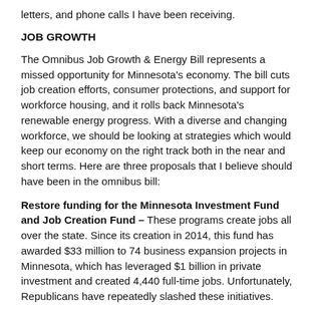letters, and phone calls I have been receiving.
JOB GROWTH
The Omnibus Job Growth & Energy Bill represents a missed opportunity for Minnesota's economy. The bill cuts job creation efforts, consumer protections, and support for workforce housing, and it rolls back Minnesota's renewable energy progress. With a diverse and changing workforce, we should be looking at strategies which would keep our economy on the right track both in the near and short terms. Here are three proposals that I believe should have been in the omnibus bill:
Restore funding for the Minnesota Investment Fund and Job Creation Fund – These programs create jobs all over the state. Since its creation in 2014, this fund has awarded $33 million to 74 business expansion projects in Minnesota, which has leveraged $1 billion in private investment and created 4,440 full-time jobs. Unfortunately, Republicans have repeatedly slashed these initiatives.
Expand our green economy – In 2007, Minnesota passed a ...